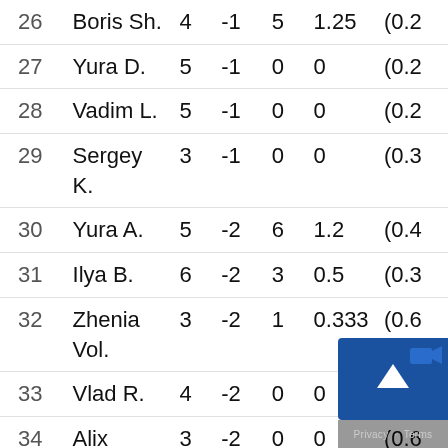| # | Name | Games | Score | Wins | Ratio | (Value) |
| --- | --- | --- | --- | --- | --- | --- |
| 26 | Boris Sh. | 4 | -1 | 5 | 1.25 | (0.2… |
| 27 | Yura D. | 5 | -1 | 0 | 0 | (0.2… |
| 28 | Vadim L. | 5 | -1 | 0 | 0 | (0.2… |
| 29 | Sergey K. | 3 | -1 | 0 | 0 | (0.3… |
| 30 | Yura A. | 5 | -2 | 6 | 1.2 | (0.4… |
| 31 | Ilya B. | 6 | -2 | 3 | 0.5 | (0.3… |
| 32 | Zhenia Vol. | 3 | -2 | 1 | 0.333 | (0.6… |
| 33 | Vlad R. | 4 | -2 | 0 | 0 | (0.5… |
| 34 | Alix | 3 | -2 | 0 | 0 | (0.6… |
| 35 | Cüneyt | 3 | -3 | 4 | 1.333 | (1.0… |
| 36 | Dima B. | 3 | -3 | 3 | 1 | (1.0… |
| 37 | Misha P. | 7 | -3 | 2 | 0.… | … |
| 38 | Fred | 4 | -3 | 1 | 0.25 | (0.7… |